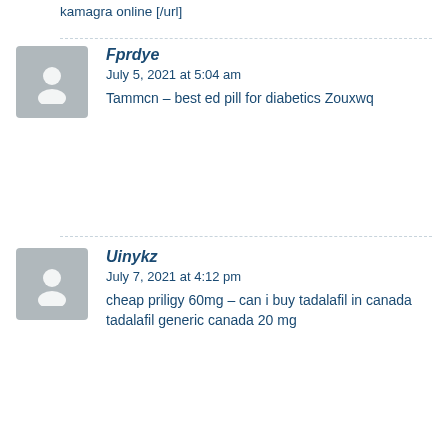kamagra online [/url]
Fprdye
July 5, 2021 at 5:04 am
Tammcn – best ed pill for diabetics Zouxwq
Uinykz
July 7, 2021 at 4:12 pm
cheap priligy 60mg – can i buy tadalafil in canada tadalafil generic canada 20 mg